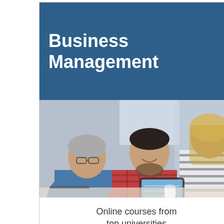Business Management
[Figure (photo): Three people collaborating at a table with a tablet device; two men and a woman in a business/educational setting]
Online courses from top universities
Enroll Now